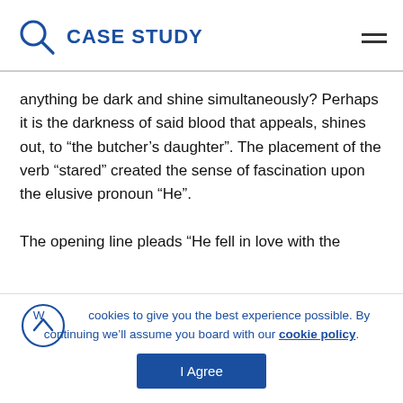CASE STUDY
anything be dark and shine simultaneously? Perhaps it is the darkness of said blood that appeals, shines out, to “the butcher's daughter”. The placement of the verb “stared” created the sense of fascination upon the elusive pronoun “He”.
The opening line pleads “He fell in love with the
We use cookies to give you the best experience possible. By continuing we'll assume you board with our cookie policy.